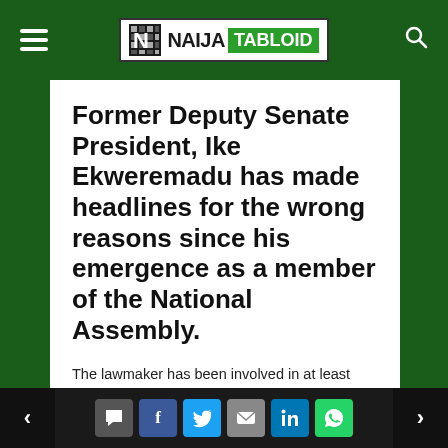NAIJA TABLOID
Former Deputy Senate President, Ike Ekweremadu has made headlines for the wrong reasons since his emergence as a member of the National Assembly.
The lawmaker has been involved in at least four controversial issues ranging from alleged corruption to the reported case of organ harvesting.
Navigation and social share buttons